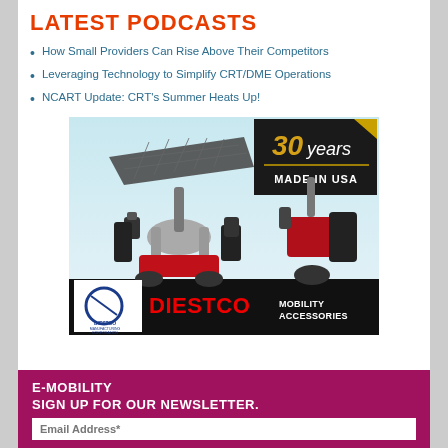LATEST PODCASTS
How Small Providers Can Rise Above Their Competitors
Leveraging Technology to Simplify CRT/DME Operations
NCART Update: CRT's Summer Heats Up!
[Figure (photo): Diestco Mobility Accessories advertisement showing two mobility scooters with accessories (canopy, bags, cup holders). Features '30 years MADE IN USA' badge in top right. Diestco Manufacturing Corporation logo in bottom left. Text reads 'DIESTCO MOBILITY ACCESSORIES' on black bar at bottom.]
E-MOBILITY
SIGN UP FOR OUR NEWSLETTER.
Email Address*